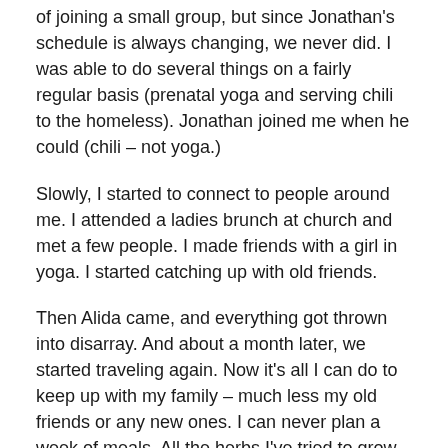of joining a small group, but since Jonathan's schedule is always changing, we never did. I was able to do several things on a fairly regular basis (prenatal yoga and serving chili to the homeless). Jonathan joined me when he could (chili – not yoga.)
Slowly, I started to connect to people around me. I attended a ladies brunch at church and met a few people. I made friends with a girl in yoga. I started catching up with old friends.
Then Alida came, and everything got thrown into disarray. And about a month later, we started traveling again. Now it's all I can do to keep up with my family – much less my old friends or any new ones. I can never plan a week of meals. All the herbs I've tried to grow have died.